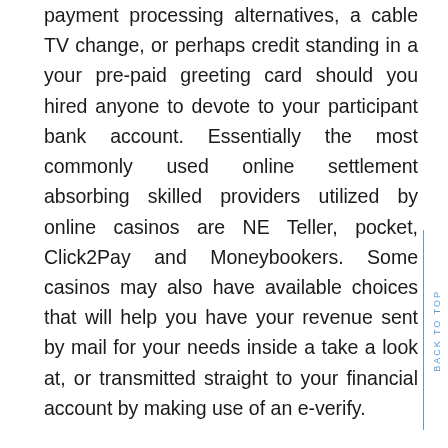payment processing alternatives, a cable TV change, or perhaps credit standing in a your pre-paid greeting card should you hired anyone to devote to your participant bank account. Essentially the most commonly used online settlement absorbing skilled providers utilized by online casinos are NE Teller, pocket, Click2Pay and Moneybookers. Some casinos may also have available choices that will help you have your revenue sent by mail for your needs inside a take a look at, or transmitted straight to your financial account by making use of an e-verify.

It is best to take a look at what negative aspect choices are found well prior to depositing resources. Will not likely land in a predicament the